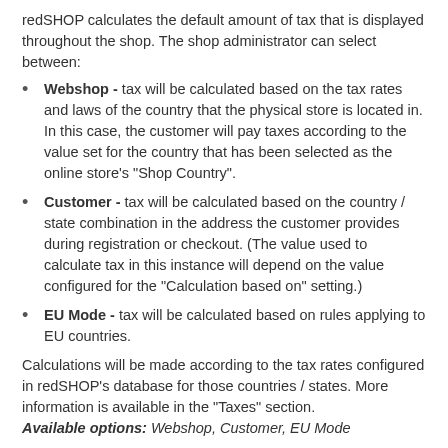redSHOP calculates the default amount of tax that is displayed throughout the shop. The shop administrator can select between:
Webshop - tax will be calculated based on the tax rates and laws of the country that the physical store is located in. In this case, the customer will pay taxes according to the value set for the country that has been selected as the online store's "Shop Country".
Customer - tax will be calculated based on the country / state combination in the address the customer provides during registration or checkout. (The value used to calculate tax in this instance will depend on the value configured for the "Calculation based on" setting.)
EU Mode - tax will be calculated based on rules applying to EU countries.
Calculations will be made according to the tax rates configured in redSHOP's database for those countries / states. More information is available in the "Taxes" section.
Available options: Webshop, Customer, EU Mode